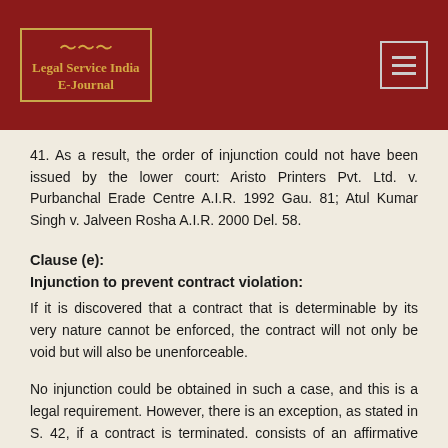Legal Service India E-Journal
41. As a result, the order of injunction could not have been issued by the lower court: Aristo Printers Pvt. Ltd. v. Purbanchal Erade Centre A.I.R. 1992 Gau. 81; Atul Kumar Singh v. Jalveen Rosha A.I.R. 2000 Del. 58.
Clause (e):
Injunction to prevent contract violation:
If it is discovered that a contract that is determinable by its very nature cannot be enforced, the contract will not only be void but will also be unenforceable.
No injunction could be obtained in such a case, and this is a legal requirement. However, there is an exception, as stated in S. 42, if a contract is terminated. consists of an affirmative agreement to perform a certain act, as well as a negative agreement to refrain from doing so. commitment, cannot be enforced to take a certain action, and the court is